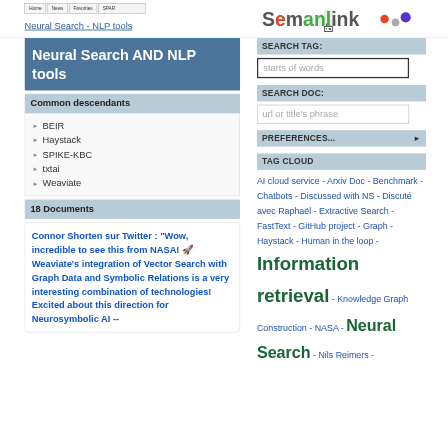[Figure (logo): Semanlink logo with colorful dots]
Home | News | Favorites | SPAR...
Neural Search - NLP tools
Neural Search AND NLP tools
Common descendants
BEIR
Haystack
SPIKE-KBC
txtai
Weaviate
18 Documents
Connor Shorten sur Twitter : "Wow, incredible to see this from NASA! 🚀 Weaviate's integration of Vector Search with Graph Data and Symbolic Relations is a very interesting combination of technologies! Excited about this direction for Neurosymbolic AI --
SEARCH TAG:
starts of words
SEARCH DOC:
url or title's phrase
PREFERENCES...
TAG CLOUD
AI cloud service - Arxiv Doc - Benchmark - Chatbots - Discussed with NS - Discuté avec Raphaël - Extractive Search - FastText - GitHub project - Graph - Haystack - Human in the loop - Information retrieval - Knowledge Graph Construction - NASA - Neural Search - Nils Reimers -